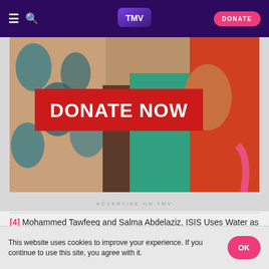TMV - DONATE
[Figure (photo): Colorful clothing/fabric photo with red 'DONATE NOW' banner overlay. Below: ADVERTISE ON TMV label.]
[4] Mohammed Tawfeeq and Salma Abdelaziz, ISIS Uses Water as Weapon in Mosul Fight, CNN, http://www.cnn.com/2016/11/30/middleeast/mosul-water-isis/index.html, (1 December 2016)
This website uses cookies to improve your experience. If you continue to use this site, you agree with it.